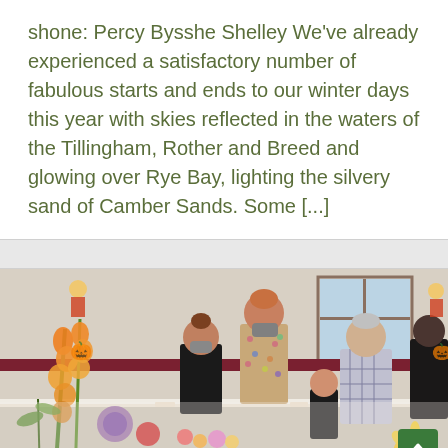shone: Percy Bysshe Shelley We've already experienced a satisfactory number of fabulous starts and ends to our winter days this year with skies reflected in the waters of the Tillingham, Rother and Breed and glowing over Rye Bay, lighting the silvery sand of Camber Sands. Some [...]
[Figure (photo): People standing around a table displaying flower arrangements at what appears to be a flower show or horticultural exhibition. Tall orange gladioli and sunflowers are visible in the foreground. Several adults and a child are looking at the exhibits. Decorative scarecrow figures are visible in the background.]